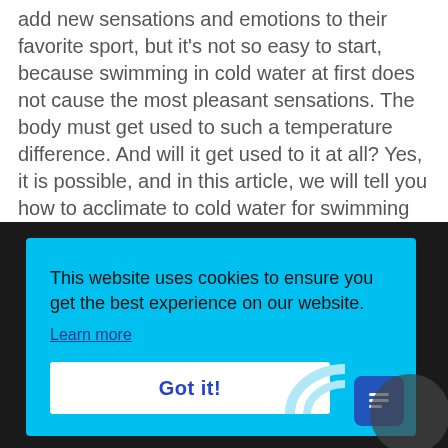add new sensations and emotions to their favorite sport, but it's not so easy to start, because swimming in cold water at first does not cause the most pleasant sensations. The body must get used to such a temperature difference. And will it get used to it at all? Yes, it is possible, and in this article, we will tell you how to acclimate to cold water for swimming in it.
[Figure (screenshot): Cookie consent popup on a dark background. A bright blue (#00c0f0) dialog box contains text 'This website uses cookies to ensure you get the best experience on our website.' with a 'Learn more' underlined link, and a 'Got it!' button in white. A blue chat/menu icon is in the bottom right corner of the popup. Dark background with partial circular element visible.]